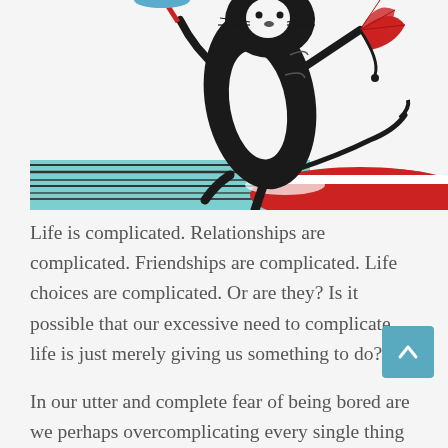[Figure (illustration): Dr. Seuss-style illustration showing a cat-like creature juggling/balancing objects including a blue disc, a red fan, and a red hat, rendered in black ink with red and blue/teal accents. The lower portion shows a partially visible red hat and teal background stripes.]
Life is complicated. Relationships are complicated. Friendships are complicated. Life choices are complicated. Or are they? Is it possible that our excessive need to complicate life is just merely giving us something to do?
In our utter and complete fear of being bored are we perhaps overcomplicating every single thing in